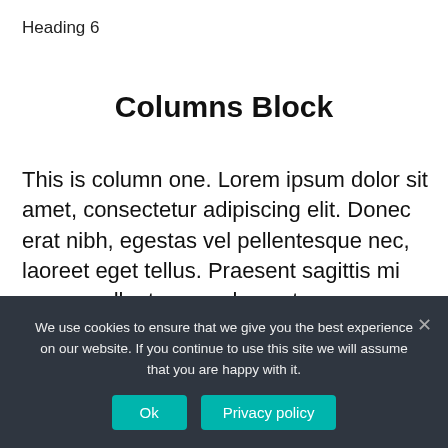Heading 6
Columns Block
This is column one. Lorem ipsum dolor sit amet, consectetur adipiscing elit. Donec erat nibh, egestas vel pellentesque nec, laoreet eget tellus. Praesent sagittis mi purus, pellentesque elementum nunc iaculis non. Nunc ut fringilla nibh, eu fringilla tortor. Nunc mattis diam sed leo semper pretium. Donec
We use cookies to ensure that we give you the best experience on our website. If you continue to use this site we will assume that you are happy with it.
Ok   Privacy policy